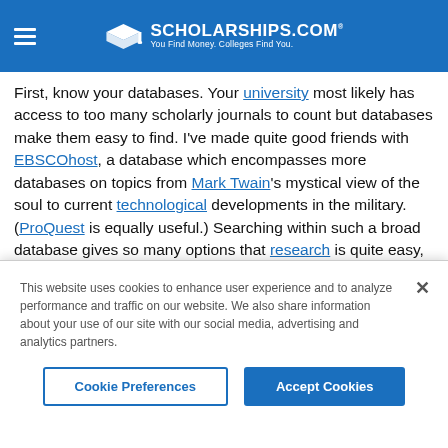SCHOLARSHIPS.COM® — You Find Money. Colleges Find You.
First, know your databases. Your university most likely has access to too many scholarly journals to count but databases make them easy to find. I've made quite good friends with EBSCOhost, a database which encompasses more databases on topics from Mark Twain's mystical view of the soul to current technological developments in the military. (ProQuest is equally useful.) Searching within such a broad database gives so many options that research is quite easy, even if you're unsure of your topic. Most will give you online access to the source you need and your college library may have archived physical copies of a journal...or
This website uses cookies to enhance user experience and to analyze performance and traffic on our website. We also share information about your use of our site with our social media, advertising and analytics partners.
Cookie Preferences
Accept Cookies